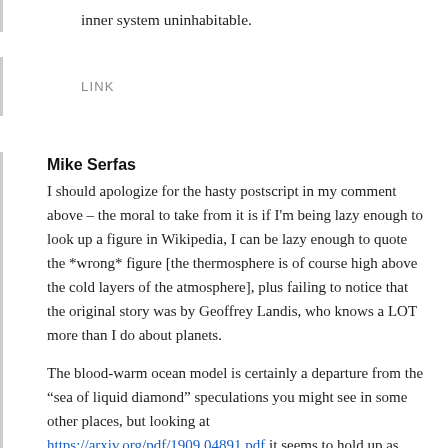inner system uninhabitable.
LINK
Mike Serfas
I should apologize for the hasty postscript in my comment above – the moral to take from it is if I'm being lazy enough to look up a figure in Wikipedia, I can be lazy enough to quote the *wrong* figure [the thermosphere is of course high above the cold layers of the atmosphere], plus failing to notice that the original story was by Geoffrey Landis, who knows a LOT more than I do about planets.

The blood-warm ocean model is certainly a departure from the "sea of liquid diamond" speculations you might see in some other places, but looking at https://arxiv.org/pdf/1909.04891.pdf it seems to hold up as plausible even in the face of much more recent data. See